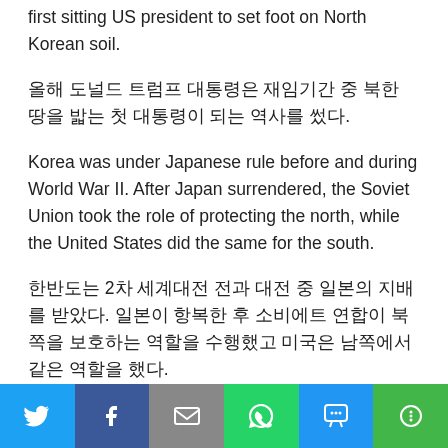first sitting US president to set foot on North Korean soil.
올해 도널드 트럼프 대통령은 재임기간 중 북한 땅을 밟는 첫 대통령이 되는 역사를 썼다.
Korea was under Japanese rule before and during World War II. After Japan surrendered, the Soviet Union took the role of protecting the north, while the United States did the same for the south.
한반도는 2차 세계대전 전과 대전 중 일본의 지배를 받았다. 일본이 항복한 후 소비에트 연합이 북쪽을 보호하는 역할을 수행했고 미국은 남쪽에서 같은 역할을 했다.
In 1948, two ideologically opposite countries were established: The Republic of Korea, or South Korea, and the Democratic People's Republic of Korea, or North